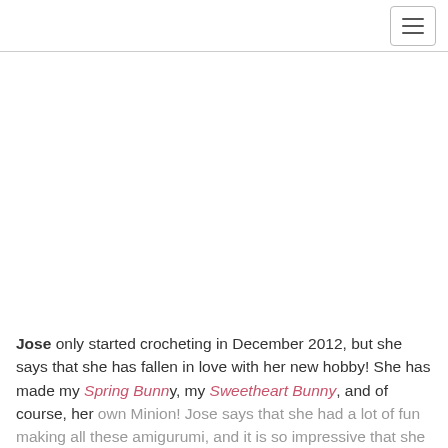[hamburger menu icon]
[Figure (photo): Large image area, mostly white/blank — a crocheted figure photo that is not visible in this crop]
Jose only started crocheting in December 2012, but she says that she has fallen in love with her new hobby!  She has made my Spring Bunny, my Sweetheart Bunny, and of course, her own Minion!  Jose says that she had a lot of fun making all these amigurumi, and it is so impressive that she made this little guy with only a couple months of crocheting under her belt!  th